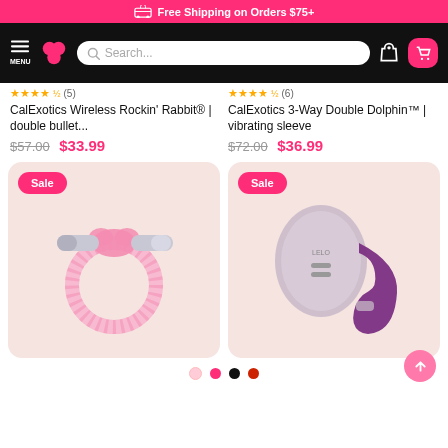Free Shipping on Orders $75+
[Figure (screenshot): E-commerce navigation bar with menu, logo, search bar, user icon and cart icon on black background]
CalExotics Wireless Rockin' Rabbit® | double bullet...
$57.00 $33.99
CalExotics 3-Way Double Dolphin™ | vibrating sleeve
$72.00 $36.99
[Figure (photo): Pink vibrating ring product on beige background with Sale badge]
[Figure (photo): Purple LELO couples vibrator product on beige background with Sale badge]
Navigation dots and scroll to top button